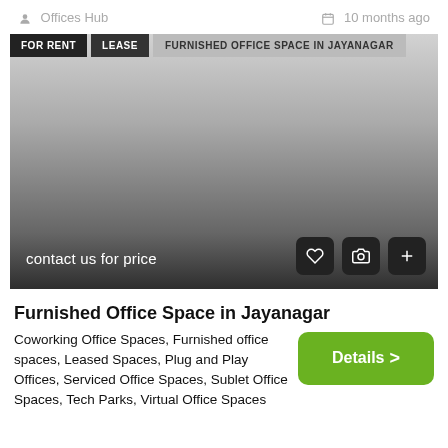Offices Hub   10 months ago
[Figure (photo): Blurred/gradient placeholder image for furnished office space listing in Jayanagar with FOR RENT, LEASE, and FURNISHED OFFICE SPACE IN JAYANAGAR tags at top, price text 'contact us for price' at bottom left, and action buttons (heart, camera, plus) at bottom right.]
Furnished Office Space in Jayanagar
Coworking Office Spaces, Furnished office spaces, Leased Spaces, Plug and Play Offices, Serviced Office Spaces, Sublet Office Spaces, Tech Parks, Virtual Office Spaces
Details >